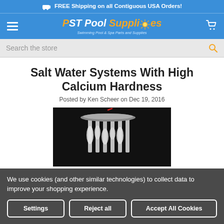🚛 FREE Shipping on all Contiguous USA Orders!
[Figure (logo): PST Pool Supplies logo with sun icon and tagline 'Swimming Pool & Spa Parts and Supplies']
Search the store
Salt Water Systems With High Calcium Hardness
Posted by Ken Scheer on Dec 19, 2016
[Figure (photo): Close-up photo of salt water chlorinator cell electrodes with white calcium deposits on a dark background]
We use cookies (and other similar technologies) to collect data to improve your shopping experience.
Settings | Reject all | Accept All Cookies